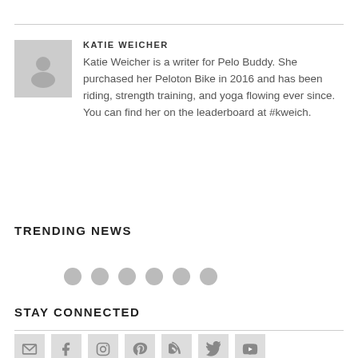[Figure (illustration): Gray avatar placeholder icon for author Katie Weicher]
KATIE WEICHER
Katie Weicher is a writer for Pelo Buddy. She purchased her Peloton Bike in 2016 and has been riding, strength training, and yoga flowing ever since. You can find her on the leaderboard at #kweich.
TRENDING NEWS
[Figure (other): Six gray loading dots indicating content loading]
STAY CONNECTED
[Figure (other): Row of social media icon boxes: email, Facebook, Instagram, Pinterest, RSS, Twitter, YouTube]